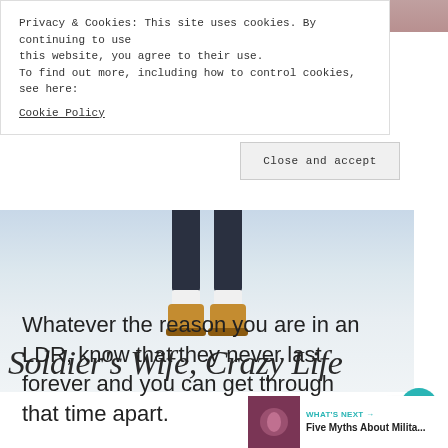[Figure (screenshot): Blog banner image showing snow background with person's legs in boots and cursive text 'Soldier's Wife, Crazy Life']
Privacy & Cookies: This site uses cookies. By continuing to use this website, you agree to their use.
To find out more, including how to control cookies, see here:
Cookie Policy
Close and accept
Whatever the reason you are in an LDR, know that they never last forever and you can get through that time apart.
WHAT'S NEXT → Five Myths About Milita...